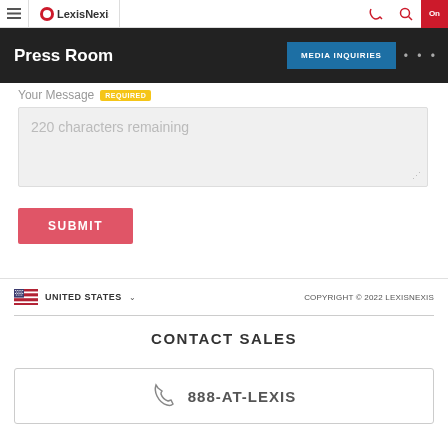LexisNexis
Press Room
Your Message REQUIRED
220 characters remaining
SUBMIT
UNITED STATES   COPYRIGHT © 2022 LEXISNEXIS
CONTACT SALES
888-AT-LEXIS